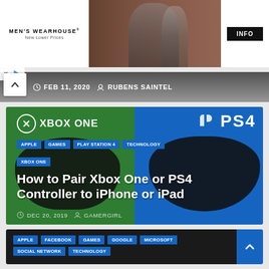[Figure (photo): Men's Wearhouse advertisement banner with couple in formal wear and man in tuxedo. 'MEN'S WEARHOUSE® New Lower Prices' text on left, INFO button on right.]
FEB 11, 2020  RUBENS SAINTEL
[Figure (photo): Article card with Xbox One (green half) and PS4 (blue half) logos and controllers. Tags: APPLE, GAMES, PLAY STATION 4, TECHNOLOGY, XBOX ONE. Title: How to Pair Xbox One or PS4 Controller to iPhone or iPad. Date: DEC 20, 2019, Author: GAMERGIRL]
APPLE  FACEBOOK  GAMES  GOOGLE  MICROSOFT  SOCIAL NETWORK  TECHNOLOGY